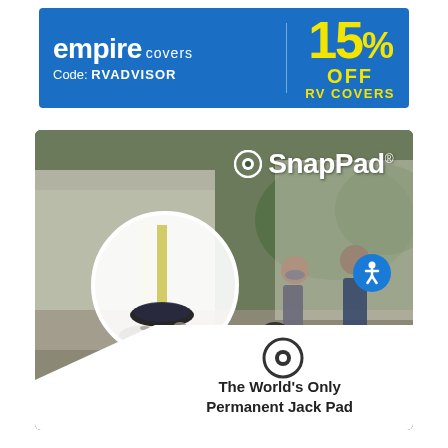[Figure (infographic): Empire Covers advertisement banner with blue background. Shows 'empire covers' logo on left, 'Code: RVADVISOR' below, and '15% OFF RV COVERS' in yellow text on right.]
[Figure (infographic): SnapPad advertisement showing a photo of an RV jack pad with a circular callout zoom, two people on electric bikes, SnapPad logo in top right, and 'The World's Only Permanent Jack Pad' tagline in white section at bottom right.]